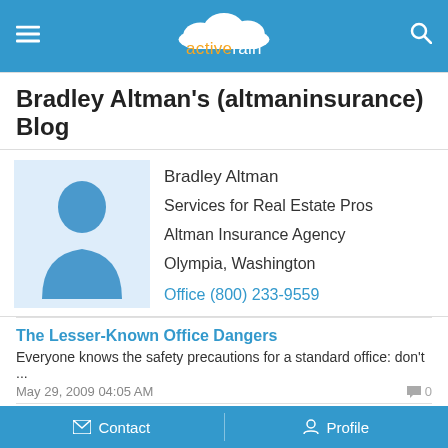activerain
Bradley Altman's (altmaninsurance) Blog
[Figure (illustration): Generic blue silhouette profile avatar on light blue background]
Bradley Altman
Services for Real Estate Pros
Altman Insurance Agency
Olympia, Washington
Office (800) 233-9559
The Lesser-Known Office Dangers
Everyone knows the safety precautions for a standard office: don't ...
May 29, 2009 04:05 AM
The Thousand-Dollar Difference: Getting Health Insurance for Your Family
Recent reports show that 8.6 million children in the U.S. are unins...
May 15, 2009 06:23 AM
Just Another Reason to Have a Great Health Insurance Policy
With the recent outbreak of the swine flu virus, it's important to...
Contact   Profile